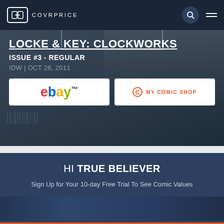CP COVRPRICE
LOCKE & KEY: CLOCKWORKS
ISSUE #3 - REGULAR
IDW | OCT 26, 2011
[Figure (logo): eBay logo button]
[Figure (logo): My Comic Shop button]
HI TRUE BELIEVER
Sign Up for Your 10-day Free Trial To See Comic Values